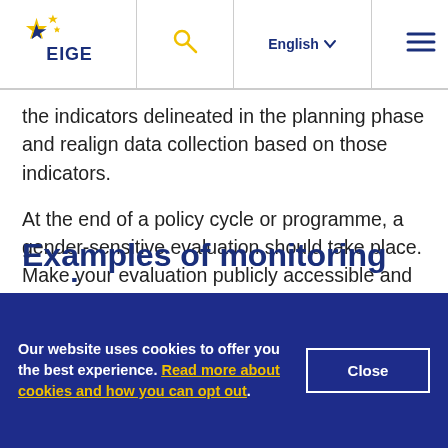EIGE — European Institute for Gender Equality | English | Search | Menu
the indicators delineated in the planning phase and realign data collection based on those indicators.
At the end of a policy cycle or programme, a gender-sensitive evaluation should take place. Make your evaluation publicly accessible and strategically disseminate its results to promote its learning potential.
Examples of monitoring and
Our website uses cookies to offer you the best experience. Read more about cookies and how you can opt out.